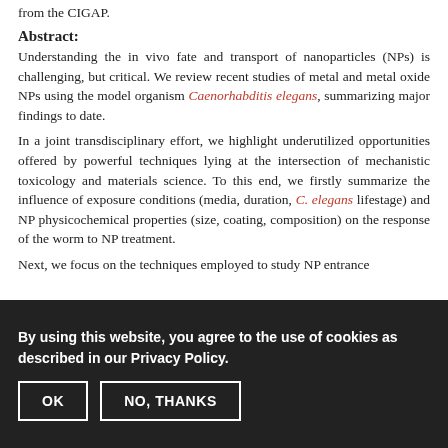from the CIGAP.
Abstract:
Understanding the in vivo fate and transport of nanoparticles (NPs) is challenging, but critical. We review recent studies of metal and metal oxide NPs using the model organism Caenorhabditis elegans, summarizing major findings to date.
In a joint transdisciplinary effort, we highlight underutilized opportunities offered by powerful techniques lying at the intersection of mechanistic toxicology and materials science. To this end, we firstly summarize the influence of exposure conditions (media, duration, C. elegans lifestage) and NP physicochemical properties (size, coating, composition) on the response of the worm to NP treatment.
Next, we focus on the techniques employed to study NP entrance
By using this website, you agree to the use of cookies as described in our Privacy Policy.